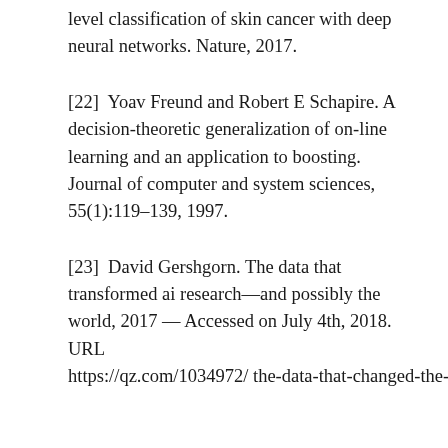level classification of skin cancer with deep neural networks. Nature, 2017.
[22]  Yoav Freund and Robert E Schapire. A decision-theoretic generalization of on-line learning and an application to boosting. Journal of computer and system sciences, 55(1):119–139, 1997.
[23]  David Gershgorn. The data that transformed ai research—and possibly the world, 2017 — Accessed on July 4th, 2018. URL https://qz.com/1034972/ the-data-that-changed-the-direction-of-ai-research-and-possibly-the-world/.